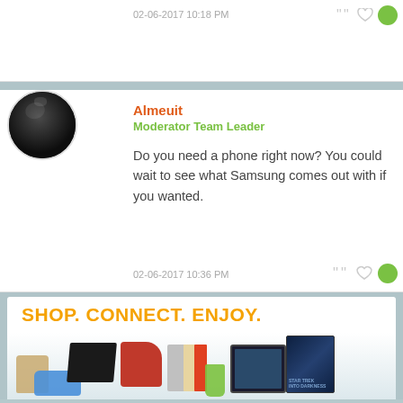02-06-2017 10:18 PM
Almeuit
Moderator Team Leader
Do you need a phone right now? You could wait to see what Samsung comes out with if you wanted.
02-06-2017 10:36 PM
[Figure (photo): Advertisement banner with text 'SHOP. CONNECT. ENJOY.' in orange and product images including gaming console, kitchen mixer, tablet, books, shoes, and movie cover.]